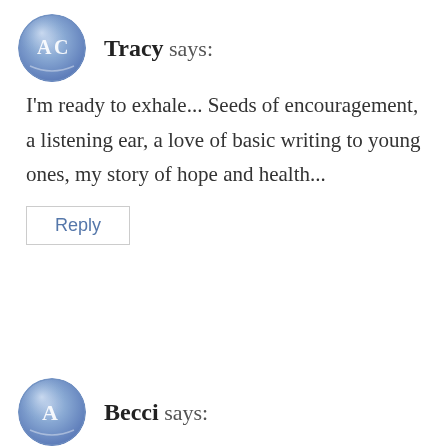[Figure (illustration): Circular avatar icon with blue/purple watercolor style background and 'AC' letters in white, for user Tracy]
Tracy says:
I'm ready to exhale... Seeds of encouragement, a listening ear, a love of basic writing to young ones, my story of hope and health...
Reply
[Figure (illustration): Circular avatar icon with blue/purple watercolor style background and 'A' letter in white, for user Becci]
Becci says: